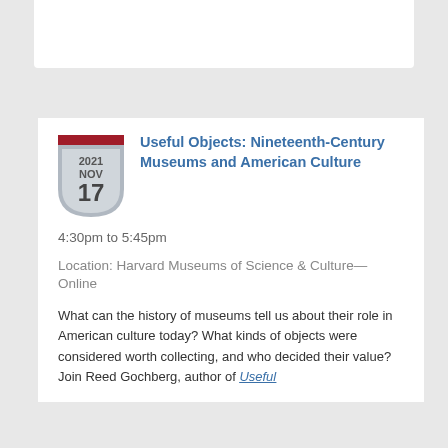Useful Objects: Nineteenth-Century Museums and American Culture
4:30pm to 5:45pm
Location: Harvard Museums of Science & Culture—Online
What can the history of museums tell us about their role in American culture today? What kinds of objects were considered worth collecting, and who decided their value? Join Reed Gochberg, author of Useful